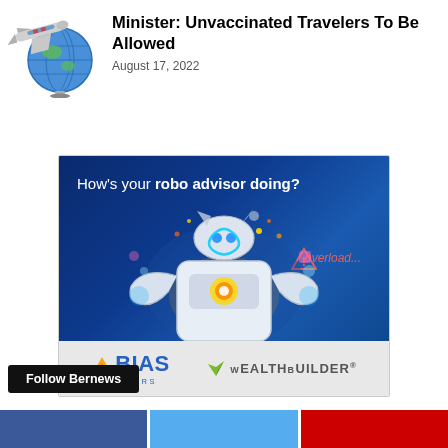[Figure (illustration): Cartoon airplane and globe icon representing travel news]
Minister: Unvaccinated Travelers To Be Allowed
August 17, 2022
[Figure (illustration): Advertisement for BIAS Investors WealthBuilder robo advisor service, with blue background, robot graphic, text 'How's your robo advisor doing?' and 'overload' warning, with BIAS Investors and WealthBuilder logos at bottom]
Follow Bernews
[Figure (illustration): Social media follow buttons for Facebook (blue), Twitter (light blue), and YouTube (red)]